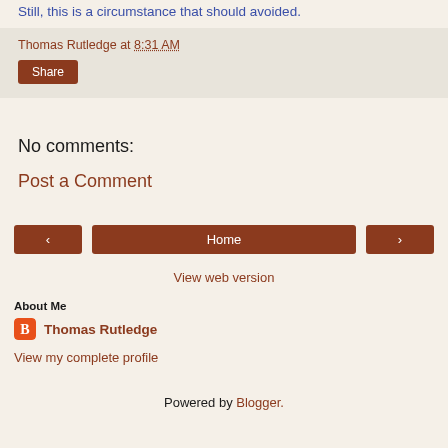Still, this is a circumstance that should avoided.
Thomas Rutledge at 8:31 AM
Share
No comments:
Post a Comment
‹ Home ›
View web version
About Me
Thomas Rutledge
View my complete profile
Powered by Blogger.